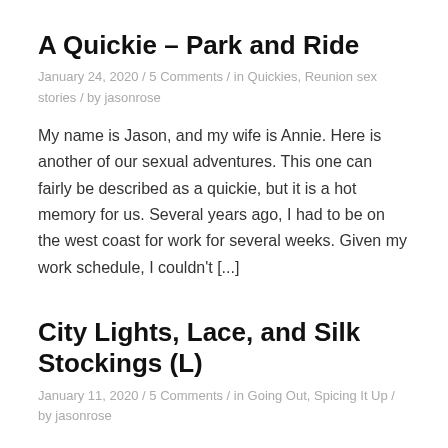A Quickie – Park and Ride
January 24, 2020 / 5 Comments / in Quickies, Reunion sex stories / by jasonrose
My name is Jason, and my wife is Annie. Here is another of our sexual adventures. This one can fairly be described as a quickie, but it is a hot memory for us. Several years ago, I had to be on the west coast for work for several weeks. Given my work schedule, I couldn't [...]
City Lights, Lace, and Silk Stockings (L)
January 11, 2020 / 5 Comments / in Going Out, Spicing It Up / by jasonrose